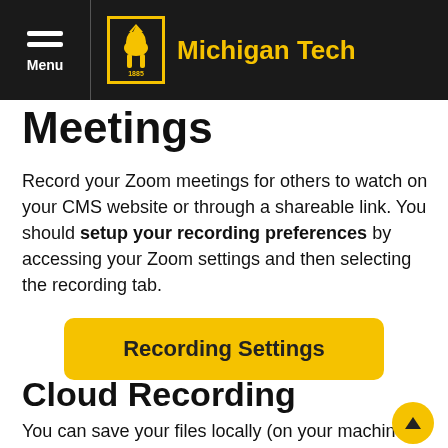Michigan Tech — Menu navigation header
Meetings
Record your Zoom meetings for others to watch on your CMS website or through a shareable link. You should setup your recording preferences by accessing your Zoom settings and then selecting the recording tab.
[Figure (other): Yellow button labeled 'Recording Settings']
Cloud Recording
You can save your files locally (on your machine) or to the cloud (accessible through your Zoom account).